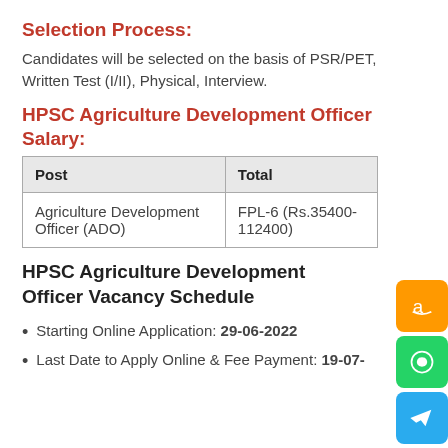Selection Process:
Candidates will be selected on the basis of PSR/PET, Written Test (I/II), Physical, Interview.
HPSC Agriculture Development Officer Salary:
| Post | Total |
| --- | --- |
| Agriculture Development Officer (ADO) | FPL-6 (Rs.35400-112400) |
HPSC Agriculture Development Officer Vacancy Schedule
Starting Online Application: 29-06-2022
Last Date to Apply Online & Fee Payment: 19-07-